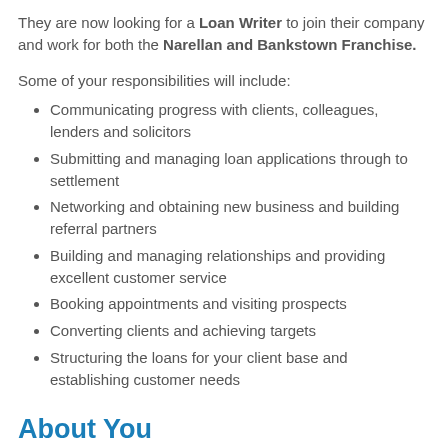They are now looking for a Loan Writer to join their company and work for both the Narellan and Bankstown Franchise.
Some of your responsibilities will include:
Communicating progress with clients, colleagues, lenders and solicitors
Submitting and managing loan applications through to settlement
Networking and obtaining new business and building referral partners
Building and managing relationships and providing excellent customer service
Booking appointments and visiting prospects
Converting clients and achieving targets
Structuring the loans for your client base and establishing customer needs
About You
The successful candidate will have: